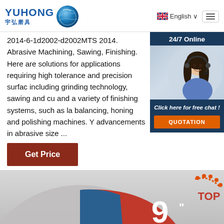[Figure (logo): Yuhong (宇弘磨具) company logo with blue sphere icon]
English
2014-6-1d2002-d2002MTS 2014. Abrasive Machining, Sawing, Finishing. Here are solutions for applications requiring high tolerance and precision surface including grinding technology, sawing and cutting and a variety of finishing systems, such as lapping, balancing, honing and polishing machines. Y advancements in abrasive size ...
[Figure (photo): 24/7 Online chat widget with woman wearing headset; includes 'Click here for free chat!' and QUOTATION button]
Get Price
[Figure (photo): Cutting disc product image showing 9 inch T41 A46SBF 230x2.5x22.2mm abrasive wheel with TOP badge and ISO/MPA markings]